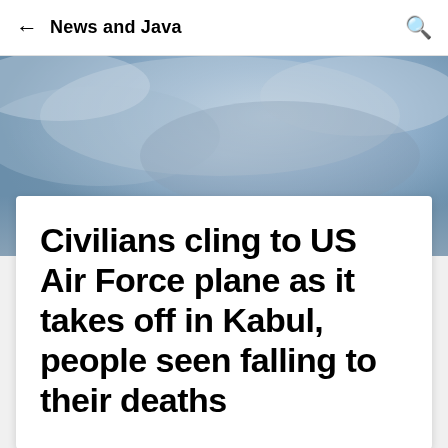News and Java
[Figure (photo): Blurred outdoor sky photo with blue and grey tones serving as background image for a news article card]
Civilians cling to US Air Force plane as it takes off in Kabul, people seen falling to their deaths